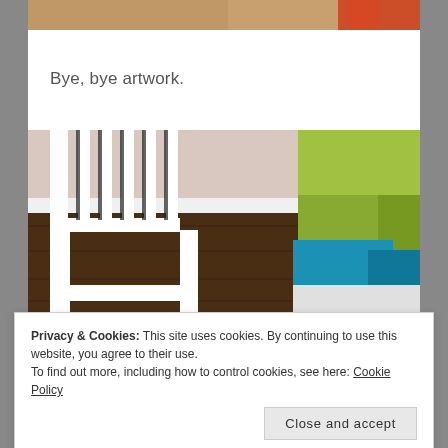[Figure (photo): Top portion of a photo showing artwork or colorful items with orange/red tones visible at the top edge of the page]
Bye, bye artwork.
[Figure (photo): Indoor photo showing white furniture - a chair with vertical slats on the left and colorful cube-shaped stools (green and teal/blue) on the right, placed on dark wood flooring with white baseboard molding visible]
Privacy & Cookies: This site uses cookies. By continuing to use this website, you agree to their use.
To find out more, including how to control cookies, see here: Cookie Policy
Close and accept
[Figure (photo): Bottom edge of another photo showing dark wood flooring]